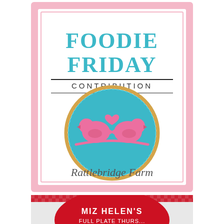[Figure (illustration): Foodie Friday Contribution badge/label with pink border and white interior. Title reads 'FOODIE FRIDAY' in teal, subtitle 'CONTRIBUTION' in dark letters, a decorated round cookie with two pink lovebirds on teal background, and script text 'Rattlebridge Farm' at bottom.]
[Figure (photo): Partially visible image of Miz Helen's plate/dish label with red and white gingham pattern at top, red circular label reading 'MIZ HELEN'S' and partial text below.]